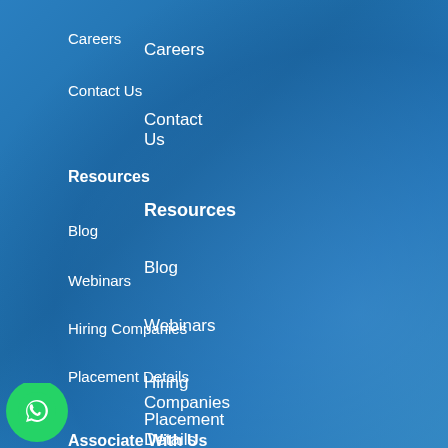Careers
Contact Us
Resources
Blog
Webinars
Hiring Companies
Placement Details
Associate With Us
Refer & Earn
ur Trainer
Be Our Guest Blogger
[Figure (logo): WhatsApp floating button icon (green circle with white WhatsApp logo)]